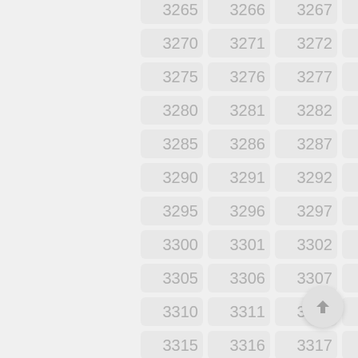[Figure (other): A grid of numbered tiles from 3265 to 3319, arranged in 5 columns and 12 rows, displayed as a scrollable list UI. Each tile is a light gray rounded rectangle with a gray number. A circular FAB button with an upward arrow is in the bottom right.]